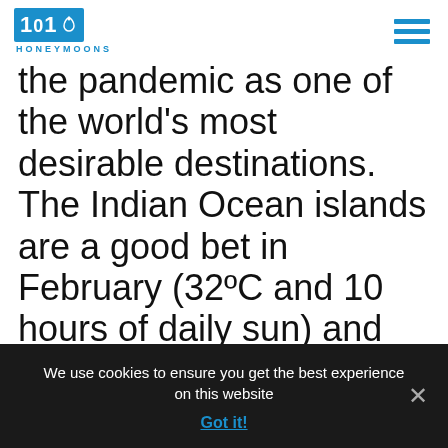101 Honeymoons
the pandemic as one of the world's most desirable destinations. The Indian Ocean islands are a good bet in February (32ºC and 10 hours of daily sun) and there are fabulous resorts to choose from such as the ultra-romantic Huvafen Fushi with its underwater spa.
We use cookies to ensure you get the best experience on this website
Got it!